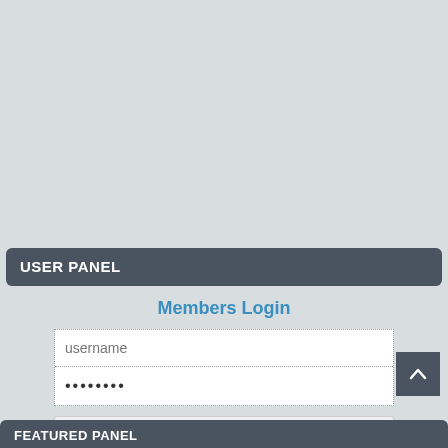[Figure (screenshot): Grey empty area at top of page, representing blank content area]
USER PANEL
Members Login
[Figure (screenshot): Login form with username text field and password field (shown as dots), followed by LOGİN button]
Kayıt ol | Lost password?
FEATURED PANEL